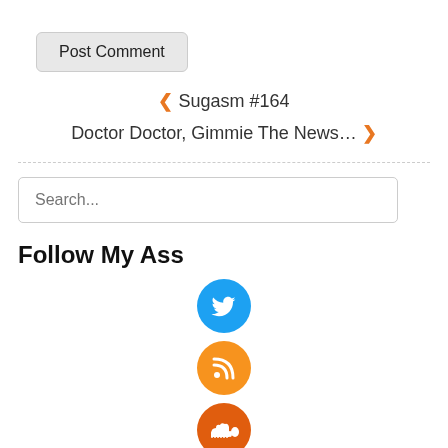Post Comment
❮ Sugasm #164
Doctor Doctor, Gimmie The News… ❯
Search...
Follow My Ass
[Figure (infographic): Social media follow icons: Twitter (blue circle), RSS (orange circle), SoundCloud (dark orange circle), and a partially visible fourth red-orange circle at bottom.]